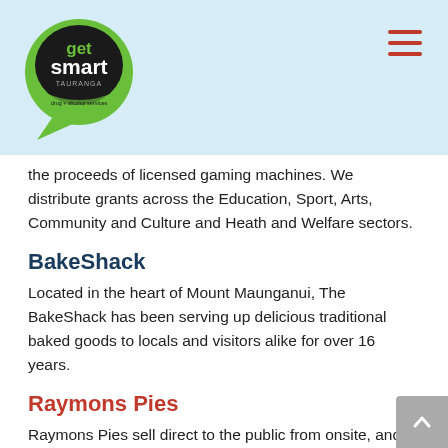[Figure (logo): Get Smart Tauranga drug + alcohol services logo — green speech bubble with black oval and white/green text]
the proceeds of licensed gaming machines. We distribute grants across the Education, Sport, Arts, Community and Culture and Heath and Welfare sectors.
BakeShack
Located in the heart of Mount Maunganui, The BakeShack has been serving up delicious traditional baked goods to locals and visitors alike for over 16 years.
Raymons Pies
Raymons Pies sell direct to the public from onsite, and are pie experts in creating meat pies, savouries, fruit pies, quiche, slices and custard squares.